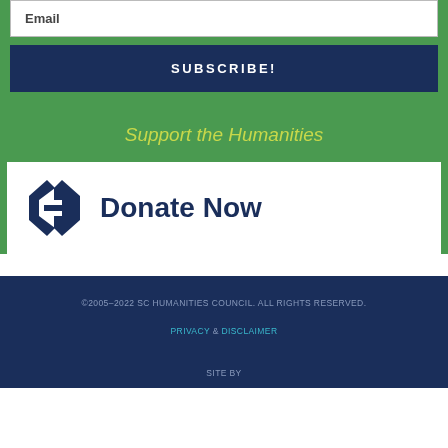Email
SUBSCRIBE!
Support the Humanities
[Figure (logo): SC Humanities Council logo — dark blue stylized diamond/shield shape with letter H]
Donate Now
©2005–2022 SC HUMANITIES COUNCIL. ALL RIGHTS RESERVED.
PRIVACY & DISCLAIMER
SITE BY